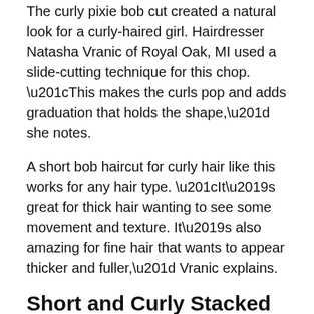The curly pixie bob cut created a natural look for a curly-haired girl. Hairdresser Natasha Vranic of Royal Oak, MI used a slide-cutting technique for this chop. “This makes the curls pop and adds graduation that holds the shape,” she notes.
A short bob haircut for curly hair like this works for any hair type. “It’s great for thick hair wanting to see some movement and texture. It’s also amazing for fine hair that wants to appear thicker and fuller,” Vranic explains.
Short and Curly Stacked Bob
Q&A with style creator, Jordan Sturm Hairstylist @ Hair Passion Salon in Greenwood, IN
How would you describe this?